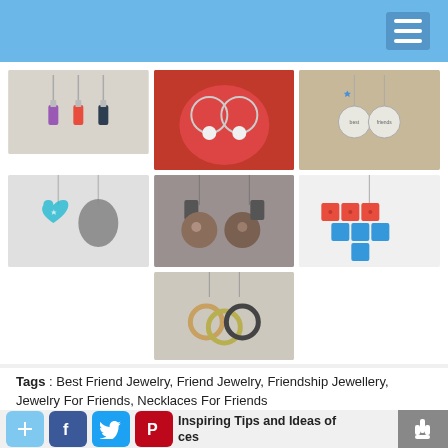[Figure (photo): Grid of 7 friendship necklace photos: colored gemstone pendants, pearl circle necklaces on red velvet, personalized disc charms, heart-shaped stone pendants, textured coin pendants, colorful scrabble tile necklaces, and ring loop necklaces]
Tags : Best Friend Jewelry, Friend Jewelry, Friendship Jewellery, Jewelry For Friends, Necklaces For Friends
Inspiring Tips and Ideas of ces